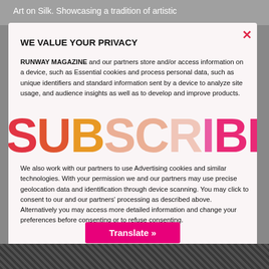Art on Silk. Showcasing a tradition of artistic
WE VALUE YOUR PRIVACY
RUNWAY MAGAZINE and our partners store and/or access information on a device, such as Essential cookies and process personal data, such as unique identifiers and standard information sent by a device to analyze site usage, and audience insights as well as to develop and improve products.
[Figure (other): Large decorative SUBSCRIBE text watermark overlaid on the modal content in gradient colors from red to pink]
We also work with our partners to use Advertising cookies and similar technologies. With your permission we and our partners may use precise geolocation data and identification through device scanning. You may click to consent to our and our partners' processing as described above. Alternatively you may access more detailed information and change your preferences before consenting or to refuse consenting.
Translate »